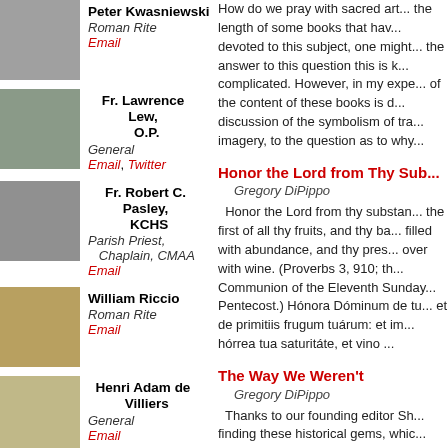[Figure (photo): Photo of Peter Kwasniewski]
Peter Kwasniewski
Roman Rite
Email
[Figure (photo): Photo of Fr. Lawrence Lew, O.P.]
Fr. Lawrence Lew, O.P.
General
Email, Twitter
[Figure (photo): Photo of Fr. Robert C. Pasley, KCHS]
Fr. Robert C. Pasley, KCHS
Parish Priest, Chaplain, CMAA
Email
[Figure (photo): Photo of William Riccio]
William Riccio
Roman Rite
Email
[Figure (photo): Photo of Henri Adam de Villiers]
Henri Adam de Villiers
General
Email
correspondents
How do we pray with sacred art... the length of some books that have been devoted to this subject, one might think the answer to this question this is very complicated. However, in my experience, of the content of these books is devoted discussion of the symbolism of traditional imagery, to the question as to why...
Honor the Lord from Thy Sub...
Gregory DiPippo
Honor the Lord from thy substance, and the first of all thy fruits, and thy barns be filled with abundance, and thy presses run over with wine. (Proverbs 3, 910; the Communion of the Eleventh Sunday after Pentecost.) Hónora Dóminum de tua: et de primitiis frugum tuárum: et im- hórrea tua saturitáte, et vino ...
The Way We Weren't
Gregory DiPippo
Thanks to our founding editor Sh... finding these historical gems, whic...